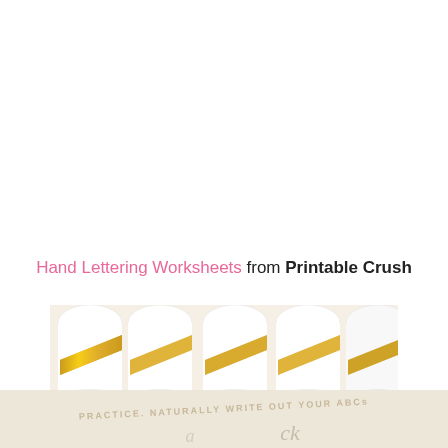Hand Lettering Worksheets from Printable Crush
[Figure (photo): Close-up photo of white paper rolled into cylinder shapes with gold glitter ribbon/tape diagonally across them, sitting on a light cream background with scattered black and mint green polka dots visible at the bottom.]
[Figure (photo): Bottom partial image showing light background with light pink/beige watermark text reading 'PRACTICE, NATURALLY WRITE OUT YOUR ABCs' with cursive lettering visible.]